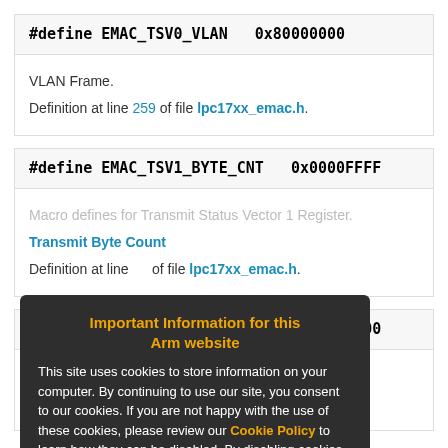#define EMAC_TSV0_VLAN   0x80000000
VLAN Frame.

Definition at line 259 of file lpc17xx_emac.h.
#define EMAC_TSV1_BYTE_CNT   0x0000FFFF
Macro defines for Transmit Status Vector 1 Register.

Transmit Byte Count

Definition at line of file lpc17xx_emac.h.
#define EMAC_TSV1_COLL_CNT   0x000F0000
Transmit Collision Count.

Definition at line 265 of file lpc17xx_emac.h.
Important Information for this Arm website

This site uses cookies to store information on your computer. By continuing to use our site, you consent to our cookies. If you are not happy with the use of these cookies, please review our Cookie Policy to learn how they can be disabled. By disabling cookies, some features of the site will not work.

Accept and hide this message